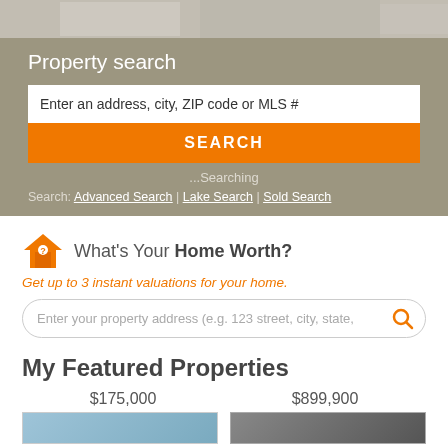[Figure (photo): Top photo strip showing an interior/architectural image]
Property search
Enter an address, city, ZIP code or MLS #
SEARCH
...Searching
Search: Advanced Search | Lake Search | Sold Search
What's Your Home Worth?
Get up to 3 instant valuations for your home.
Enter your property address (e.g. 123 street, city, state,
My Featured Properties
$175,000
$899,900